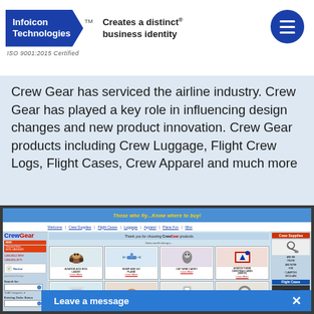Infoicon Technologies™ Creates a distinct® business identity | ISO 9001:2015 Certified
Crew Gear has serviced the airline industry. Crew Gear has played a key role in influencing design changes and new product innovation. Crew Gear products including Crew Luggage, Flight Crew Logs, Flight Cases, Crew Apparel and much more
[Figure (screenshot): Screenshot of CrewGear website showing navigation bar, product grid with aviation-themed items including Aviator Ace Dog, Bump and Go Plane, Cat Wine Caddy, Aviation Theme Christmas Cards, Aviation Theme Christmas Greeting Cards, Dachshund Watering Can, and a watch/key product. Right sidebar shows Crew Supplies and Flight Cases sections. Bottom shows Leave a message chat widget.]